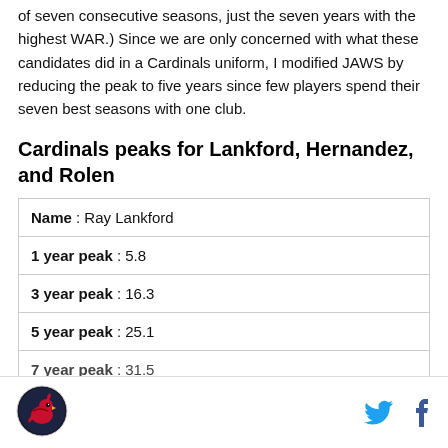of seven consecutive seasons, just the seven years with the highest WAR.) Since we are only concerned with what these candidates did in a Cardinals uniform, I modified JAWS by reducing the peak to five years since few players spend their seven best seasons with one club.
Cardinals peaks for Lankford, Hernandez, and Rolen
| Name | 1 year peak | 3 year peak | 5 year peak | 7 year peak |
| --- | --- | --- | --- | --- |
| Ray Lankford | 5.8 | 16.3 | 25.1 | 31.5 |
[Figure (logo): Cardinals logo circular icon]